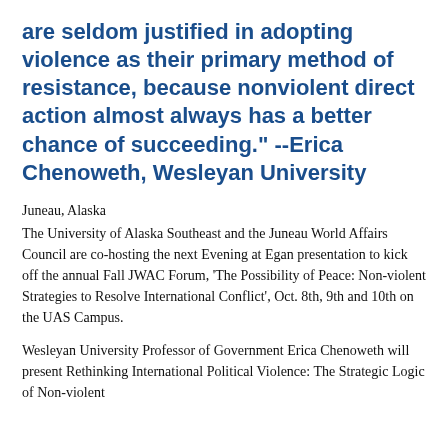are seldom justified in adopting violence as their primary method of resistance, because nonviolent direct action almost always has a better chance of succeeding." --Erica Chenoweth, Wesleyan University
Juneau, Alaska
The University of Alaska Southeast and the Juneau World Affairs Council are co-hosting the next Evening at Egan presentation to kick off the annual Fall JWAC Forum, 'The Possibility of Peace: Non-violent Strategies to Resolve International Conflict', Oct. 8th, 9th and 10th on the UAS Campus.
Wesleyan University Professor of Government Erica Chenoweth will present Rethinking International Political Violence: The Strategic Logic of Non-violent